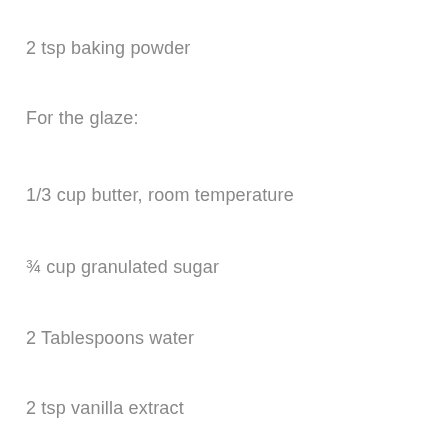2 tsp baking powder
For the glaze:
1/3 cup butter, room temperature
¾ cup granulated sugar
2 Tablespoons water
2 tsp vanilla extract
Powdered sugar for dusting